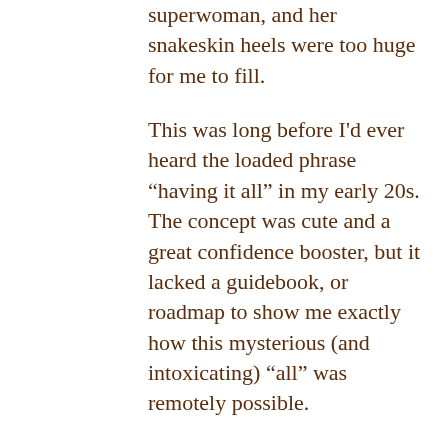superwoman, and her snakeskin heels were too huge for me to fill.
This was long before I'd ever heard the loaded phrase “having it all” in my early 20s. The concept was cute and a great confidence booster, but it lacked a guidebook, or roadmap to show me exactly how this mysterious (and intoxicating) “all” was remotely possible.
Still, I pressed on, navigating my media career and rethinking my position on parenthood.
Even back then (and today) I